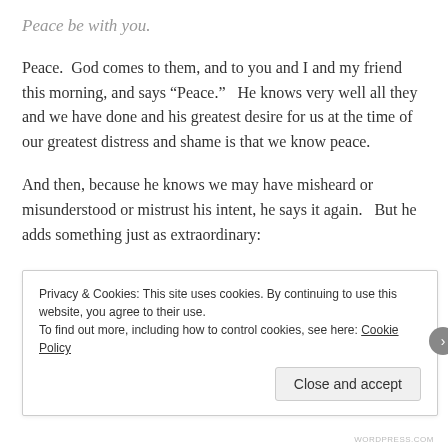Peace be with you.
Peace.  God comes to them, and to you and I and my friend this morning, and says “Peace.”   He knows very well all they and we have done and his greatest desire for us at the time of our greatest distress and shame is that we know peace.
And then, because he knows we may have misheard or misunderstood or mistrust his intent, he says it again.   But he adds something just as extraordinary:
Peace be with you. As the Father has sent me, even so I
Privacy & Cookies: This site uses cookies. By continuing to use this website, you agree to their use.
To find out more, including how to control cookies, see here: Cookie Policy
Close and accept